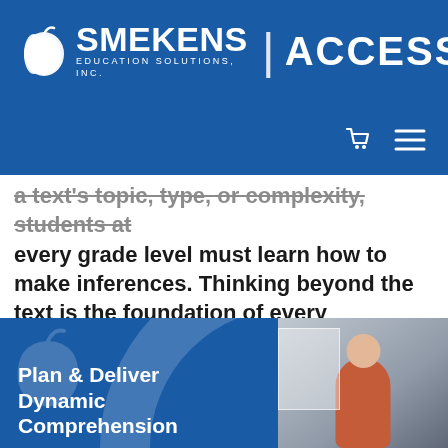[Figure (logo): Smekens Education Solutions, Inc. | ACCESS logo on blue background with apple icon]
a text's topic, type, or complexity, students at every grade level must learn how to make inferences. Thinking beyond the text is the foundation of every comprehension standard. During this practical and engaging edWebinar,...
[Figure (screenshot): Thumbnail image reading 'Plan & Deliver Dynamic Comprehension' on blue background with presenter photo]